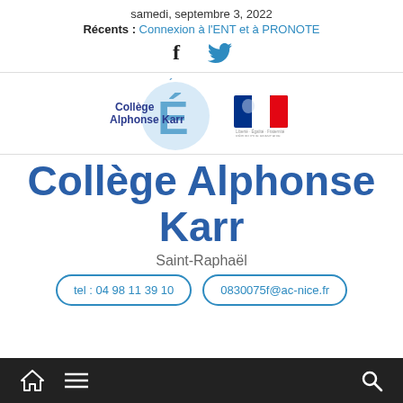samedi, septembre 3, 2022
Récents : Connexion à l'ENT et à PRONOTE
[Figure (other): Facebook and Twitter social media icons (f and bird symbol) in dark blue/black]
[Figure (logo): Collège Alphonse Karr logo with large blue É symbol and French Republic emblem]
Collège Alphonse Karr
Saint-Raphaël
tel : 04 98 11 39 10   0830075f@ac-nice.fr
Navigation bar with home icon, menu icon, and search icon